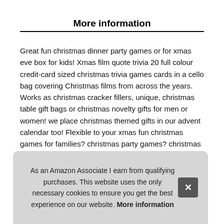More information
Great fun christmas dinner party games or for xmas eve box for kids! Xmas film quote trivia 20 full colour credit-card sized christmas trivia games cards in a cello bag covering Christmas films from across the years. Works as christmas cracker fillers, unique, christmas table gift bags or christmas novelty gifts for men or women! we place christmas themed gifts in our advent calendar too! Flexible to your xmas fun christmas games for families? christmas party games? christmas games for table? Xmas Day games? Christmas table... cale... San... perf... con... manufactured here in the UK.
As an Amazon Associate I earn from qualifying purchases. This website uses the only necessary cookies to ensure you get the best experience on our website. More information